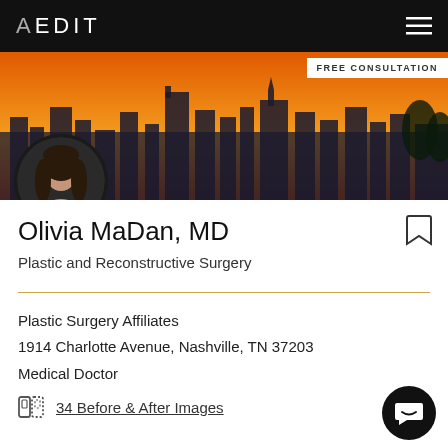AEDIT
Download the app
[Figure (photo): Nashville city skyline at sunset with orange sky, doctor circular portrait photo overlaid at lower left]
FREE CONSULTATION
Olivia MaDan, MD
Plastic and Reconstructive Surgery
Plastic Surgery Affiliates
1914 Charlotte Avenue, Nashville, TN 37203
Medical Doctor
34 Before & After Images